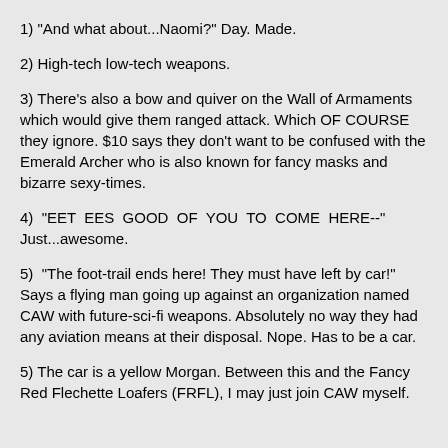1) "And what about...Naomi?" Day. Made.
2) High-tech low-tech weapons.
3) There's also a bow and quiver on the Wall of Armaments which would give them ranged attack. Which OF COURSE they ignore. $10 says they don't want to be confused with the Emerald Archer who is also known for fancy masks and bizarre sexy-times.
4) "EET EES GOOD OF YOU TO COME HERE--" Just...awesome.
5) "The foot-trail ends here! They must have left by car!" Says a flying man going up against an organization named CAW with future-sci-fi weapons. Absolutely no way they had any aviation means at their disposal. Nope. Has to be a car.
5) The car is a yellow Morgan. Between this and the Fancy Red Flechette Loafers (FRFL), I may just join CAW myself.